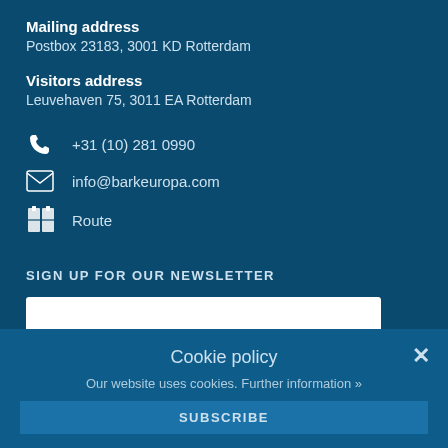Mailing address
Postbox 23183, 3001 KD Rotterdam
Visitors address
Leuvehaven 75, 3011 EA Rotterdam
+31 (10) 281 0990
info@barkeuropa.com
Route
SIGN UP FOR OUR NEWSLETTER
Cookie policy
Our website uses cookies. Further information »
SUBSCRIBE